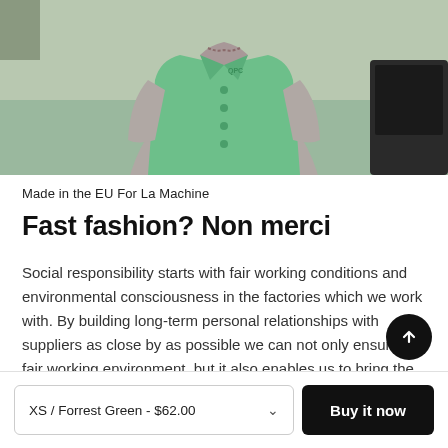[Figure (photo): Person wearing a light green/teal button-up vest over a grey long-sleeve shirt, torso and partial head visible, in what appears to be a factory or workshop setting.]
Made in the EU For La Machine
Fast fashion? Non merci
Social responsibility starts with fair working conditions and environmental consciousness in the factories which we work with. By building long-term personal relationships with suppliers as close by as possible we can not only ensure a fair working environment, but it also enables us to bring the
XS / Forrest Green - $62.00
Buy it now